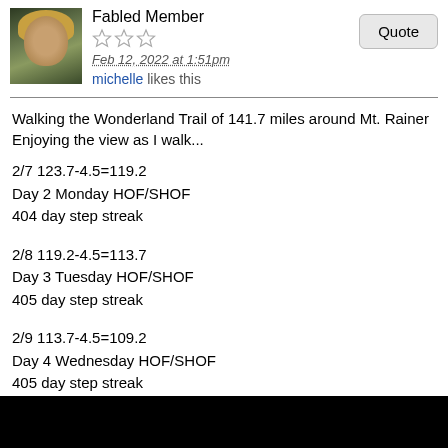Fabled Member
Feb 12, 2022 at 1:51pm
michelle likes this
Walking the Wonderland Trail of 141.7 miles around Mt. Rainer Enjoying the view as I walk...
2/7 123.7-4.5=119.2
Day 2 Monday HOF/SHOF
404 day step streak
2/8 119.2-4.5=113.7
Day 3 Tuesday HOF/SHOF
405 day step streak
2/9 113.7-4.5=109.2
Day 4 Wednesday HOF/SHOF
405 day step streak
2/10 109.2-4.5=104.7
Day 5 Thursday HOF/SHOF
406 day step streak
2/11 104.7-4.5=100.2.
Day 6 Friday HOF/SHOF